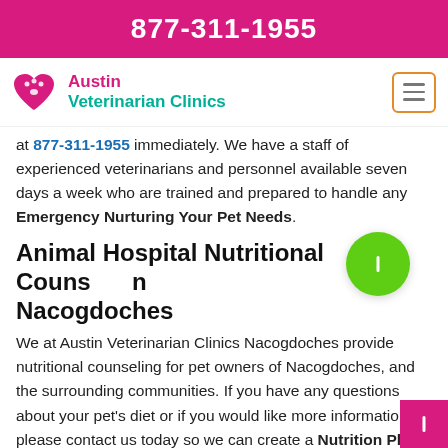877-311-1955
[Figure (logo): Austin Veterinarian Clinics logo with heart/paw icon]
at 877-311-1955 immediately. We have a staff of experienced veterinarians and personnel available seven days a week who are trained and prepared to handle any Emergency Nurturing Your Pet Needs.
Animal Hospital Nutritional Counseling Nacogdoches
We at Austin Veterinarian Clinics Nacogdoches provide nutritional counseling for pet owners of Nacogdoches, and the surrounding communities. If you have any questions about your pet's diet or if you would like more information, please contact us today so we can create a Nutrition Plan For Your Pet. Obesity is a growing iss...